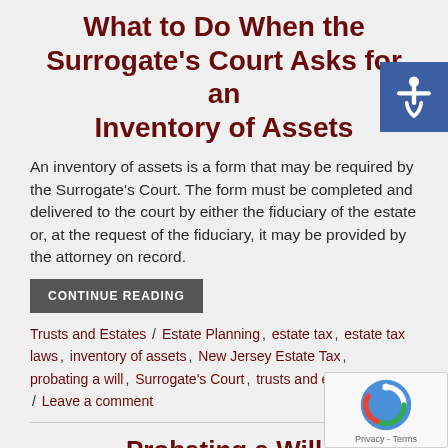What to Do When the Surrogate's Court Asks for an Inventory of Assets
An inventory of assets is a form that may be required by the Surrogate's Court. The form must be completed and delivered to the court by either the fiduciary of the estate or, at the request of the fiduciary, it may be provided by the attorney on record.
CONTINUE READING
Trusts and Estates / Estate Planning, estate tax, estate tax laws, inventory of assets, New Jersey Estate Tax, probating a will, Surrogate's Court, trusts and estates / Leave a comment
Probating a Will
It is important to create a comprehensive estate plan, and there are certain measures that one can